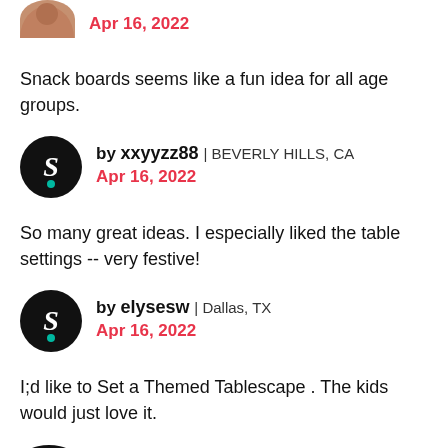Apr 16, 2022
Snack boards seems like a fun idea for all age groups.
by xxyyzz88 | BEVERLY HILLS, CA
Apr 16, 2022
So many great ideas. I especially liked the table settings -- very festive!
by elysesw | Dallas, TX
Apr 16, 2022
I;d like to Set a Themed Tablescape . The kids would just love it.